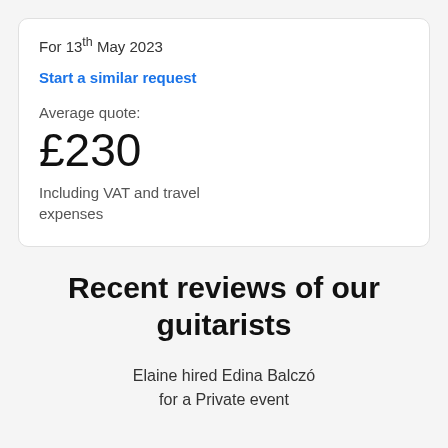For 13th May 2023
Start a similar request
Average quote:
£230
Including VAT and travel expenses
Recent reviews of our guitarists
Elaine hired Edina Balczó for a Private event